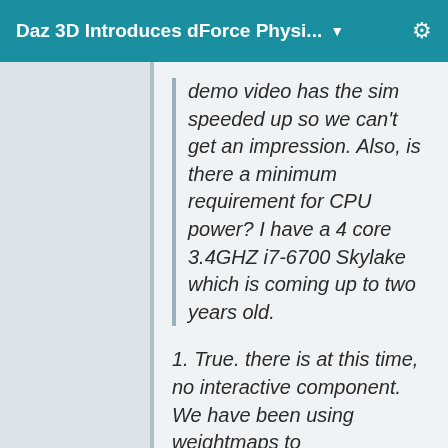Daz 3D Introduces dForce Physi... ▼
demo video has the sim speeded up so we can't get an impression. Also, is there a minimum requirement for CPU power? I have a 4 core 3.4GHZ i7-6700 Skylake which is coming up to two years old.
1. True. there is at this time, no interactive component.  We have been using weightmaps to